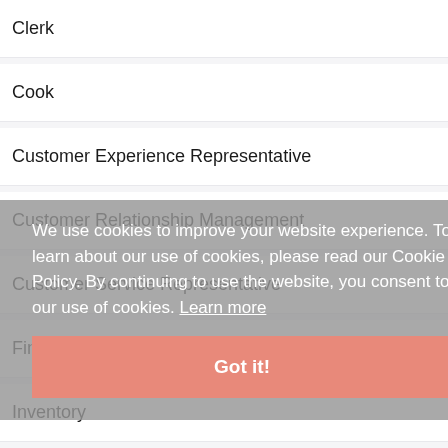Clerk
Cook
Customer Experience Representative
Customer Relationship Management
Customer Service Representative
Financial Center Manager
Inventory
We use cookies to improve your website experience. To learn about our use of cookies, please read our Cookie Policy. By continuing to use the website, you consent to our use of cookies. Learn more
Got it!